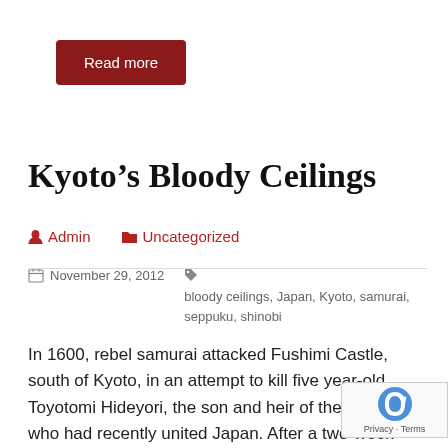Read more
Kyoto's Bloody Ceilings
Admin   Uncategorized
November 29, 2012   bloody ceilings, Japan, Kyoto, samurai, seppuku, shinobi
In 1600, rebel samurai attacked Fushimi Castle, south of Kyoto, in an attempt to kill five year-old Toyotomi Hideyori, the son and heir of the general who had recently united Japan. After a two-week siege, the rebels breached the walls, set fire to the castle and killed the garrison commander. With their leader dead, the remaining samurai